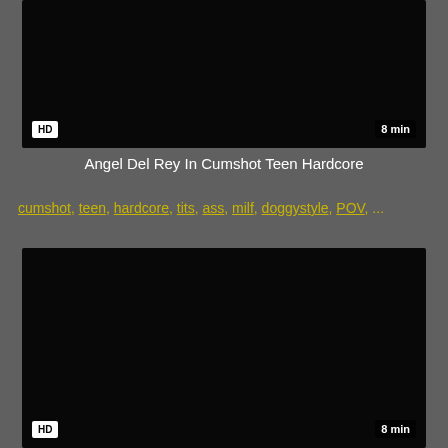[Figure (screenshot): Dark/black video thumbnail with HD badge bottom-left and 8 min duration badge bottom-right]
Angel Del Rey In Cumshot Teen Hardcore
cumshot, teen, hardcore, tits, ass, milf, doggystyle, POV, ...
[Figure (screenshot): Dark/black video thumbnail with HD badge bottom-left and 8 min duration badge bottom-right]